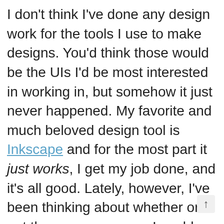I don't think I've done any design work for the tools I use to make designs. You'd think those would be the UIs I'd be most interested in working in, but somehow it just never happened. My favorite and much beloved design tool is Inkscape and for the most part it just works, I get my job done, and it's all good. Lately, however, I've been thinking about whether or not there are any ways I could work more efficiently and spend less time on menial/repetitive tasks, and if there are any new FOSS tools out there that I should consider integrating into my workflow. That being said, I've been playing around with Pencil lately. Pencil is a Mozilla/XUL-based GUI